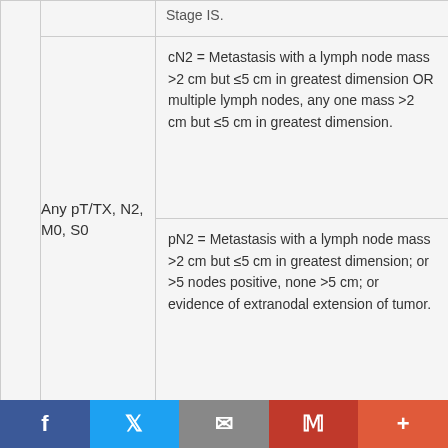|  | Stage | Definition |
| --- | --- | --- |
|  |  | Stage IS. |
|  | Any pT/TX, N2, M0, S0 | cN2 = Metastasis with a lymph node mass >2 cm but ≤5 cm in greatest dimension OR multiple lymph nodes, any one mass >2 cm but ≤5 cm in greatest dimension. |
|  | Any pT/TX, N2, M0, S0 | pN2 = Metastasis with a lymph node mass >2 cm but ≤5 cm in greatest dimension; or >5 nodes positive, none >5 cm; or evidence of extranodal extension of tumor. |